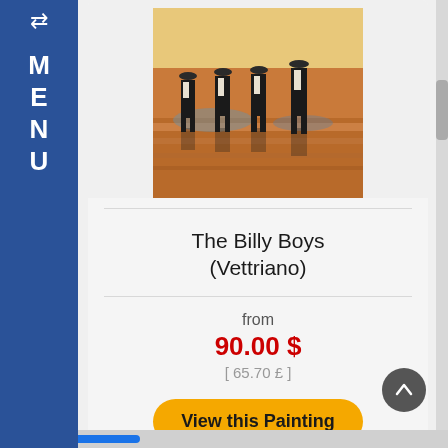MENU
[Figure (photo): Painting titled 'The Billy Boys' by Vettriano showing four men in dark suits and hats walking on a reflective beach]
The Billy Boys (Vettriano)
from
90.00 $
[ 65.70 £ ]
View this Painting